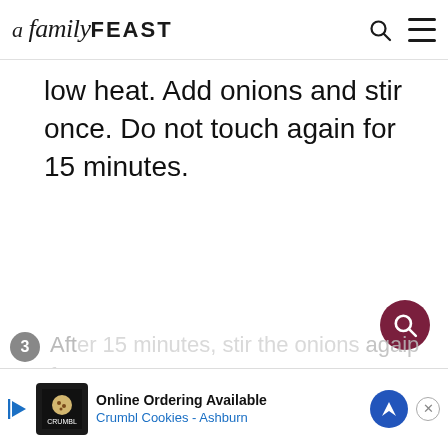A Family FEAST
low heat. Add onions and stir once. Do not touch again for 15 minutes.
3  After 15 minutes, stir the onions again for...
[Figure (screenshot): Advertisement banner: Online Ordering Available - Crumbl Cookies - Ashburn]